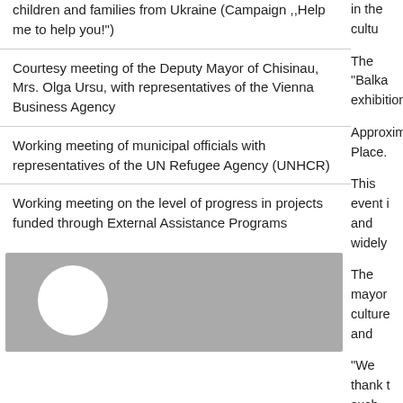children and families from Ukraine (Campaign ,,Help me to help you!")
Courtesy meeting of the Deputy Mayor of Chisinau, Mrs. Olga Ursu, with representatives of the Vienna Business Agency
Working meeting of municipal officials with representatives of the UN Refugee Agency (UNHCR)
Working meeting on the level of progress in projects funded through External Assistance Programs
[Figure (photo): Gray placeholder image with white circle, likely a person photo]
in the cultu
The "Balka exhibitions
Approximat Place.
This event i and widely
The mayor culture and
"We thank t such event Mr. Ion Ceb